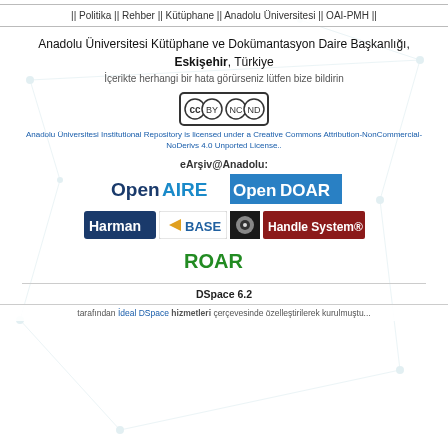|| Politika || Rehber || Kütüphane || Anadolu Üniversitesi || OAI-PMH ||
Anadolu Üniversitesi Kütüphane ve Dokümantasyon Daire Başkanlığı, Eskişehir, Türkiye
İçerikte herhangi bir hata görürseniz lütfen bize bildirin
[Figure (logo): Creative Commons BY NC ND license badge]
Anadolu Üniversitesi Institutional Repository is licensed under a Creative Commons Attribution-NonCommercial-NoDerivs 4.0 Unported License..
eArşiv@Anadolu:
[Figure (logo): OpenAIRE logo]
[Figure (logo): OpenDOAR logo]
[Figure (logo): Harman logo]
[Figure (logo): BASE logo]
[Figure (logo): OCLC eye logo]
[Figure (logo): Handle System logo]
[Figure (logo): ROAR logo]
DSpace 6.2
tarafından İdeal DSpace hizmetleri çerçevesinde özelleştirilerek kurulmuştu...